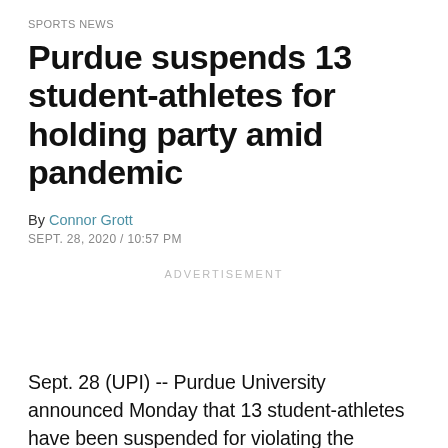SPORTS NEWS
Purdue suspends 13 student-athletes for holding party amid pandemic
By Connor Grott
SEPT. 28, 2020 / 10:57 PM
ADVERTISEMENT
Sept. 28 (UPI) -- Purdue University announced Monday that 13 student-athletes have been suspended for violating the "Protect Purdue Pledge" by hosting a party over the weekend in a campus residence hall.